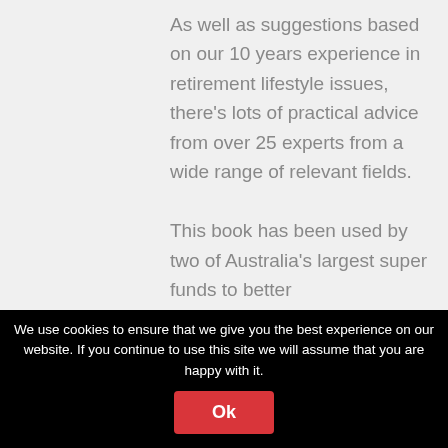As well as suggestions based on our 10 years experience in retirement lifestyle issues, there's lots of practical advice from over 25 experts from a wide range of relevant fields.

This book has been used by two of Australia's largest super funds to better
We use cookies to ensure that we give you the best experience on our website. If you continue to use this site we will assume that you are happy with it.
Ok